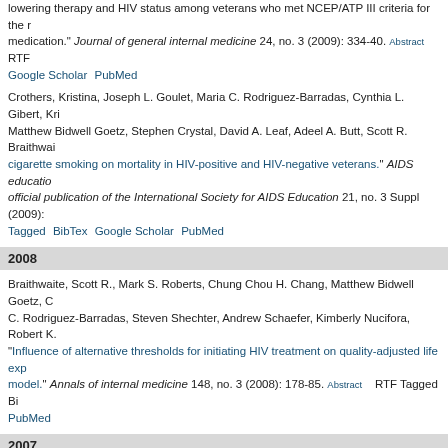lowering therapy and HIV status among veterans who met NCEP/ATP III criteria for the medication. Journal of general internal medicine 24, no. 3 (2009): 334-40. Abstract RTF Google Scholar PubMed
Crothers, Kristina, Joseph L. Goulet, Maria C. Rodriguez-Barradas, Cynthia L. Gibert, Kri Matthew Bidwell Goetz, Stephen Crystal, David A. Leaf, Adeel A. Butt, Scott R. Braithwai cigarette smoking on mortality in HIV-positive and HIV-negative veterans. AIDS educatio official publication of the International Society for AIDS Education 21, no. 3 Suppl (2009): Tagged BibTex Google Scholar PubMed
2008
Braithwaite, Scott R., Mark S. Roberts, Chung Chou H. Chang, Matthew Bidwell Goetz, C. Rodriguez-Barradas, Steven Shechter, Andrew Schaefer, Kimberly Nucifora, Robert K. Influence of alternative thresholds for initiating HIV treatment on quality-adjusted life exp model. Annals of internal medicine 148, no. 3 (2008): 178-85. Abstract RTF Tagged Bi PubMed
2007
Crothers, Kristina, Joseph L. Goulet, Maria C. Rodriguez-Barradas, Cynthia L. Gibert, Ad Braithwaite, Robin Peck, and Amy C. Justice. Decreased awareness of current smoking providers of HIV-positive compared to HIV-negative veterans. Journal of general internal (2007): 749-54. Abstract RTF Tagged BibTex Google Scholar PubMed
2006
Crothers, Kristina, Adeel A. Butt, Cynthia L. Gibert, Maria C. Rodriguez-Barradas, Stephe Justice. Increased COPD among HIV-positive compared to HIV-negative veterans. Che 1326-33. Abstract RTF Tagged BibTex Google Scholar PubMed
Justice, Amy C., Elizabeth Dombrowski, Joseph Conigliaro, Shawn L. Fultz, Deborah Gib MacLeod, Joseph Contos, Michael Sincloff, Adeel A. Butt, Ravi Rimland...